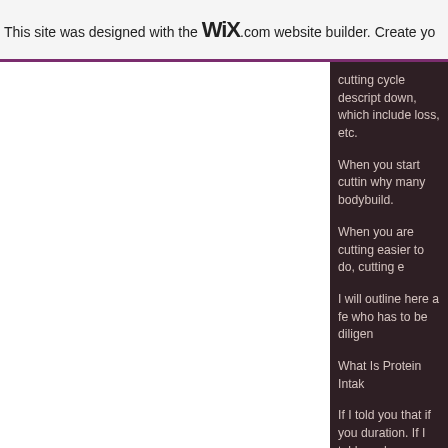This site was designed with the WiX.com website builder. Create yo
cutting cycle descript down, which include loss, etc.
When you start cuttin why many bodybuild.
When you are cutting easier to do, cutting e
I will outline here a fe who has to be diligen
What Is Protein Intak
If I told you that if you duration. If I told you have actually gained